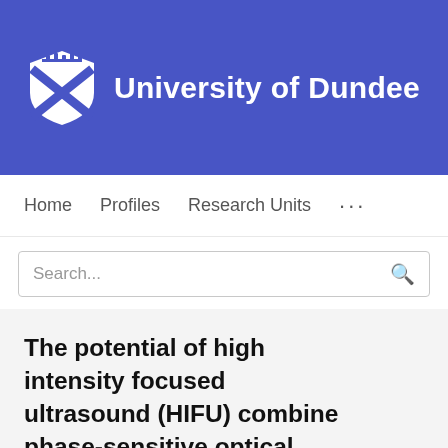[Figure (logo): University of Dundee shield logo (white on blue background) with crown and X pattern]
University of Dundee
Home   Profiles   Research Units   ...
Search...
The potential of high intensity focused ultrasound (HIFU) combine phase-sensitive optical coherence tomography (PhS-OCT) for diseases diagnosis, treatment and monitoring